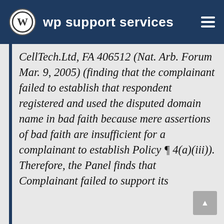wp support services
CellTech.Ltd, FA 406512 (Nat. Arb. Forum Mar. 9, 2005) (finding that the complainant failed to establish that respondent registered and used the disputed domain name in bad faith because mere assertions of bad faith are insufficient for a complainant to establish Policy ¶ 4(a)(iii)). Therefore, the Panel finds that Complainant failed to support its